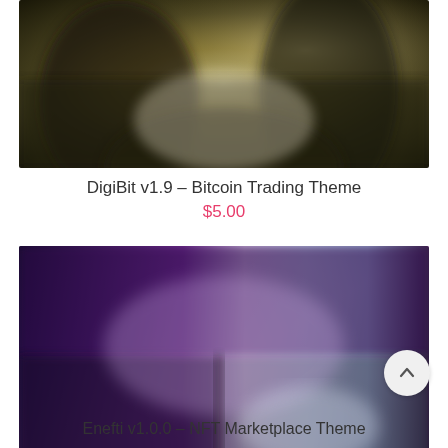[Figure (screenshot): Blurred preview image of DigiBit Bitcoin Trading WordPress theme showing a dark, nature/outdoor background scene]
DigiBit v1.9 – Bitcoin Trading Theme
$5.00
[Figure (screenshot): Blurred preview image of Enefti NFT Marketplace Theme showing a dark purple/violet and light multi-panel layout]
Enefti v1.0.0 – NFT Marketplace Theme